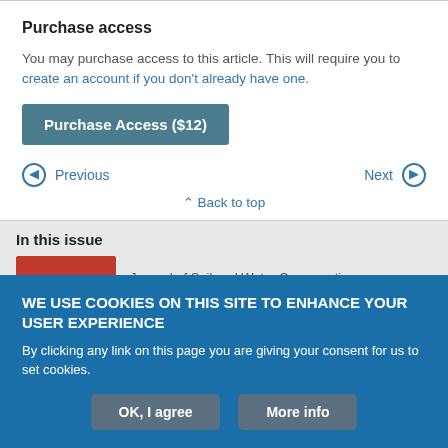Purchase access
You may purchase access to this article. This will require you to create an account if you don't already have one.
Purchase Access ($12)
Previous
Next
Back to top
In this issue
Journal of Soil and Water Conservation
WE USE COOKIES ON THIS SITE TO ENHANCE YOUR USER EXPERIENCE
By clicking any link on this page you are giving your consent for us to set cookies.
OK, I agree
More info